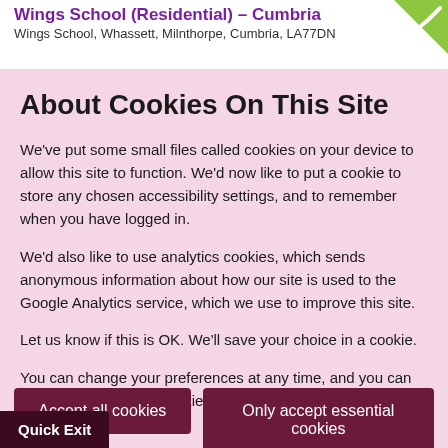Wings School (Residential) – Cumbria
Wings School, Whassett, Milnthorpe, Cumbria, LA77DN
About Cookies On This Site
We've put some small files called cookies on your device to allow this site to function. We'd now like to put a cookie to store any chosen accessibility settings, and to remember when you have logged in.
We'd also like to use analytics cookies, which sends anonymous information about how our site is used to the Google Analytics service, which we use to improve this site.
Let us know if this is OK. We'll save your choice in a cookie.
You can change your preferences at any time, and you can read more about our cookies before you choose.